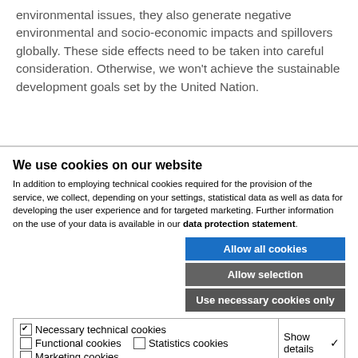environmental issues, they also generate negative environmental and socio-economic impacts and spillovers globally. These side effects need to be taken into careful consideration. Otherwise, we won't achieve the sustainable development goals set by the United Nation.
We use cookies on our website
In addition to employing technical cookies required for the provision of the service, we collect, depending on your settings, statistical data as well as data for developing the user experience and for targeted marketing. Further information on the use of your data is available in our data protection statement.
Allow all cookies
Allow selection
Use necessary cookies only
✔ Necessary technical cookies  □ Functional cookies  □ Statistics cookies  □ Marketing cookies  Show details ∨